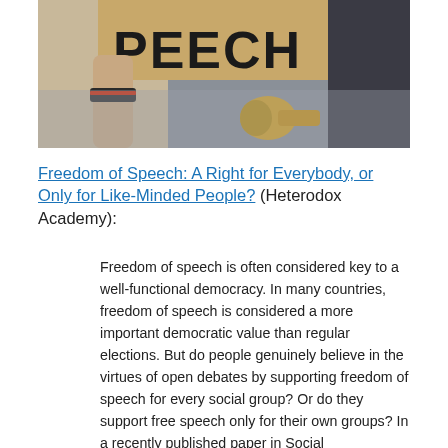[Figure (photo): A person holding a protest sign reading 'SPEECH', with a megaphone visible, outdoors in daylight.]
Freedom of Speech: A Right for Everybody, or Only for Like-Minded People? (Heterodox Academy):
Freedom of speech is often considered key to a well-functional democracy. In many countries, freedom of speech is considered a more important democratic value than regular elections. But do people genuinely believe in the virtues of open debates by supporting freedom of speech for every social group? Or do they support free speech only for their own groups? In a recently published paper in Social Psychological and Personality Science, we aimed to answer these questions and...